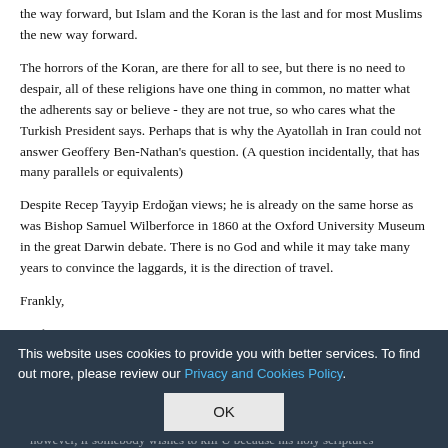the way forward, but Islam and the Koran is the last and for most Muslims the new way forward.
The horrors of the Koran, are there for all to see, but there is no need to despair, all of these religions have one thing in common, no matter what the adherents say or believe - they are not true, so who cares what the Turkish President says. Perhaps that is why the Ayatollah in Iran could not answer Geoffery Ben-Nathan's question. (A question incidentally, that has many parallels or equivalents)
Despite Recep Tayyip Erdoğan views; he is already on the same horse as was Bishop Samuel Wilberforce in 1860 at the Oxford University Museum in the great Darwin debate. There is no God and while it may take many years to convince the laggards, it is the direction of travel.
Frankly,
Reply->
This website uses cookies to provide you with better services. To find out more, please review our Privacy and Cookies Policy.
OK
Scorpio, I would love to have a discussion with U regarding religion, as it is one of my favorite subjects of discussion, right up there with politics. however, if somebody wishes to kill U because his holy scriptures